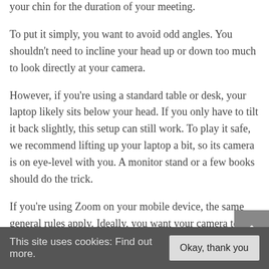your chin for the duration of your meeting.
To put it simply, you want to avoid odd angles. You shouldn't need to incline your head up or down too much to look directly at your camera.
However, if you're using a standard table or desk, your laptop likely sits below your head. If you only have to tilt it back slightly, this setup can still work. To play it safe, we recommend lifting up your laptop a bit, so its camera is on eye-level with you. A monitor stand or a few books should do the trick.
If you're using Zoom on your mobile device, the same general rules apply. Ideally, you want your camera to be eye-level or slightly higher. It can be difficult to hold your smartphone at this angle for extended periods of time, so consider investing in a tripod if you don't have
This site uses cookies: Find out more.  Okay, thank you